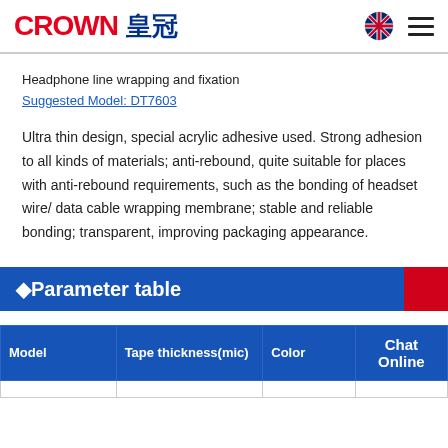CROWN 皇冠
Headphone line wrapping and fixation
Suggested Model: DT7603
Ultra thin design, special acrylic adhesive used. Strong adhesion to all kinds of materials; anti-rebound, quite suitable for places with anti-rebound requirements, such as the bonding of headset wire/ data cable wrapping membrane; stable and reliable bonding; transparent, improving packaging appearance.
◆Parameter table
| Model | Tape thickness(mic) | Color | Chat Online |
| --- | --- | --- | --- |